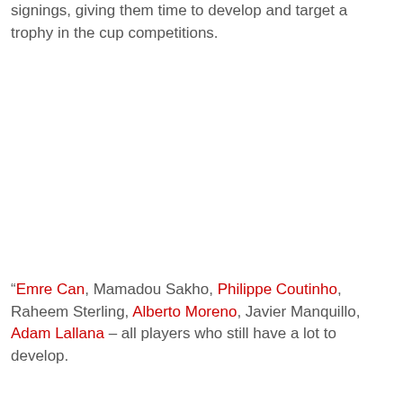signings, giving them time to develop and target a trophy in the cup competitions.
“Emre Can, Mamadou Sakho, Philippe Coutinho, Raheem Sterling, Alberto Moreno, Javier Manquillo, Adam Lallana – all players who still have a lot to develop.